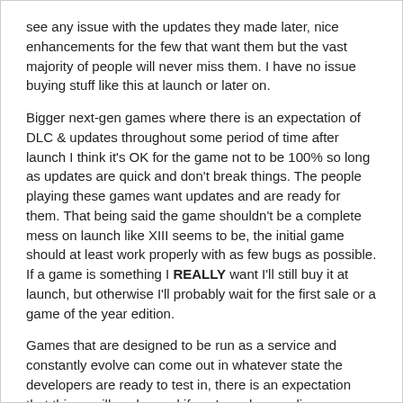see any issue with the updates they made later, nice enhancements for the few that want them but the vast majority of people will never miss them. I have no issue buying stuff like this at launch or later on.
Bigger next-gen games where there is an expectation of DLC & updates throughout some period of time after launch I think it's OK for the game not to be 100% so long as updates are quick and don't break things. The people playing these games want updates and are ready for them. That being said the game shouldn't be a complete mess on launch like XIII seems to be, the initial game should at least work properly with as few bugs as possible. If a game is something I REALLY want I'll still buy it at launch, but otherwise I'll probably wait for the first sale or a game of the year edition.
Games that are designed to be run as a service and constantly evolve can come out in whatever state the developers are ready to test in, there is an expectation that things will evolve and if you're only spending money once you're happy to I see no issue with it. For me I actually won't play stuff like this unless I'm in at the start. If a game is up to season 7 and has been running for 2 years I automatically assume I'm so far behind everyone else playing that there would be little enjoyment to be had starting now.